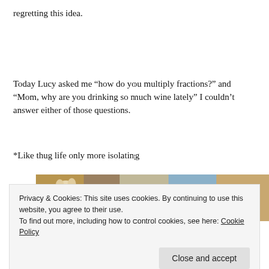regretting this idea.
Today Lucy asked me “how do you multiply fractions?” and “Mom, why are you drinking so much wine lately” I couldn’t answer either of those questions.
*Like thug life only more isolating
[Figure (photo): A photo showing a dog and room interior with shelves and framed pictures]
Privacy & Cookies: This site uses cookies. By continuing to use this website, you agree to their use.
To find out more, including how to control cookies, see here: Cookie Policy
Close and accept